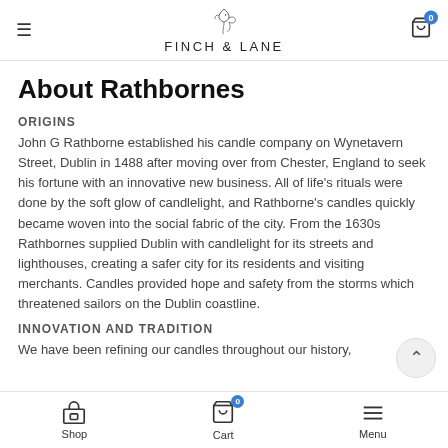FINCH & LANE
About Rathbornes
ORIGINS
John G Rathborne established his candle company on Wynetavern Street, Dublin in 1488 after moving over from Chester, England to seek his fortune with an innovative new business. All of life's rituals were done by the soft glow of candlelight, and Rathborne's candles quickly became woven into the social fabric of the city. From the 1630s Rathbornes supplied Dublin with candlelight for its streets and lighthouses, creating a safer city for its residents and visiting merchants. Candles provided hope and safety from the storms which threatened sailors on the Dublin coastline.
INNOVATION AND TRADITION
We have been refining our candles throughout our history,
Shop  Cart  Menu